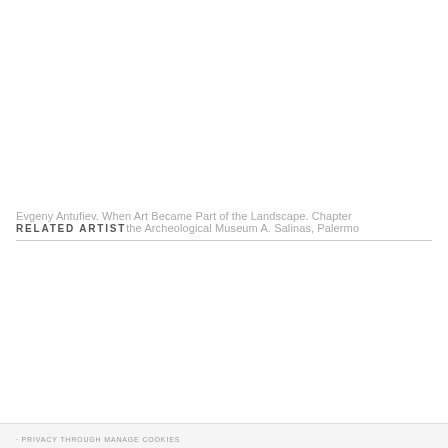Evgeny Antufiev. When Art Became Part of the Landscape. Chapter
RELATED ARTIST
the Archeological Museum A. Salinas, Palermo
PRIVACY THROUGH MANAGE COOKIES